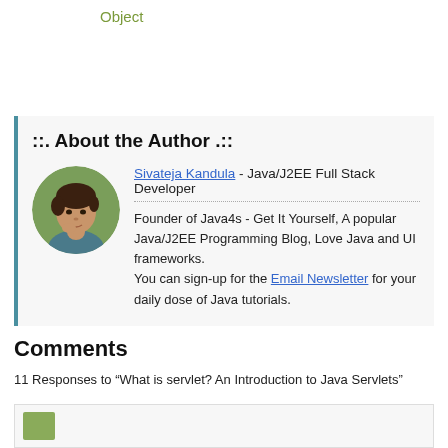Object
::. About the Author .::
[Figure (photo): Circular profile photo of Sivateja Kandula, a man with dark hair, against a green background]
Sivateja Kandula - Java/J2EE Full Stack Developer
Founder of Java4s - Get It Yourself, A popular Java/J2EE Programming Blog, Love Java and UI frameworks. You can sign-up for the Email Newsletter for your daily dose of Java tutorials.
Comments
11 Responses to “What is servlet? An Introduction to Java Servlets”